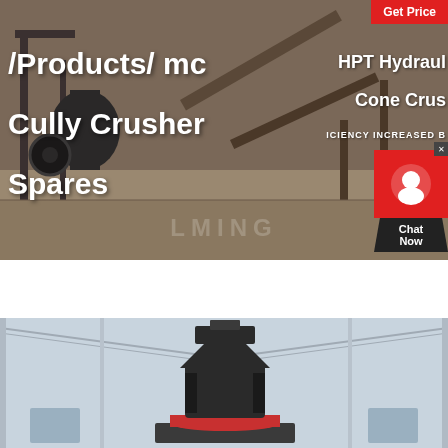[Figure (photo): Hero banner showing industrial mining/crushing facility with conveyor belts and heavy machinery in a dusty outdoor environment. Overlaid with text and UI elements.]
/Products/mc
Cully Crusher
Spares
HPT Hydraulic Cone Crusher
ICIENCY INCREASED B
Get Price
Chat Now
[Figure (photo): Industrial cone crusher machine photographed inside a warehouse/factory setting with steel structure roof visible. Machine is dark grey with red accents at the base.]